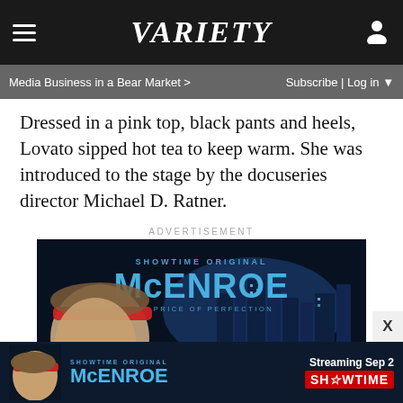VARIETY
Media Business in a Bear Market >    Subscribe | Log in ▼
Dressed in a pink top, black pants and heels, Lovato sipped hot tea to keep warm. She was introduced to the stage by the docuseries director Michael D. Ratner.
ADVERTISEMENT
[Figure (photo): Showtime Original McENROE - The Price of Perfection advertisement showing a man with a red headband against a city skyline backdrop on a tennis court]
[Figure (photo): Bottom banner ad: Showtime Original McENROE - Streaming Sep 2 on Showtime]